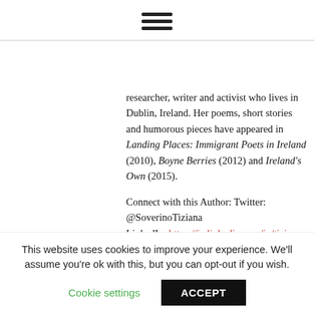[Figure (other): Hamburger menu icon (three horizontal lines)]
researcher, writer and activist who lives in Dublin, Ireland. Her poems, short stories and humorous pieces have appeared in Landing Places: Immigrant Poets in Ireland (2010), Boyne Berries (2012) and Ireland's Own (2015).
Connect with this Author: Twitter: @SoverinoTiziana
LinkedIn: https://ie.linkedin.com/in/tizianasoverino
Tiziana's words on multiculturalism:
[Figure (photo): Partial photo of a person visible at bottom left]
This website uses cookies to improve your experience. We'll assume you're ok with this, but you can opt-out if you wish.
Cookie settings
ACCEPT